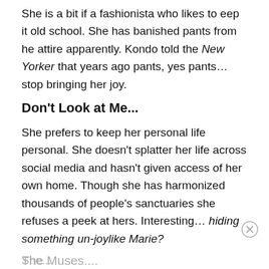She is a bit if a fashionista who likes to eep it old school. She has banished pants from he attire apparently. Kondo told the New Yorker that years ago pants, yes pants… stop bringing her joy.
Don't Look at Me...
She prefers to keep her personal life personal. She doesn't splatter her life across social media and hasn't given access of her own home. Though she has harmonized thousands of people's sanctuaries she refuses a peek at hers. Interesting… hiding something un-joylike Marie?
The Muses....
She...